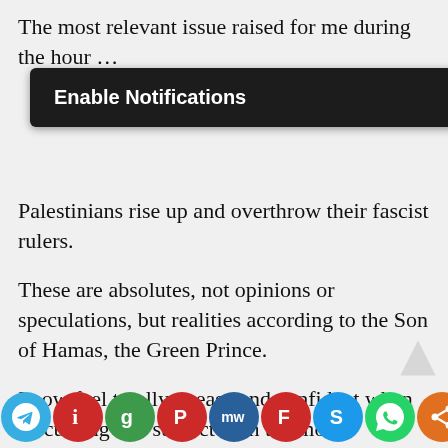The most relevant issue raised for me during the hour … ies
[Figure (screenshot): Browser notification prompt overlay with dark background reading 'Enable Notifications' with 'OK' and 'NO THANKS' buttons]
Palestinians rise up and overthrow their fascist rulers.
These are absolutes, not opinions or speculations, but realities according to the Son of Hamas, the Green Prince.
I now feel totally at ease and confident when discussing this subject with the most aggressive pro-Palestinian individuals.
My disciplined research signifies to me that I am as well informed on the Religious, Legal, and Historical facts as anyone out there.
Let me just pass on a couple of facts to help those of
[Figure (infographic): Social sharing bar at the bottom with icons for Telegram, Instapaper, Google, Pocket, MeWe, Flipboard, Skype, WhatsApp, and Share]